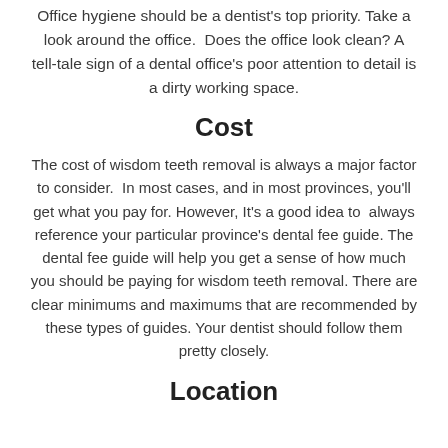Office hygiene should be a dentist's top priority. Take a look around the office.  Does the office look clean? A tell-tale sign of a dental office's poor attention to detail is a dirty working space.
Cost
The cost of wisdom teeth removal is always a major factor to consider.  In most cases, and in most provinces, you'll get what you pay for. However, It's a good idea to  always reference your particular province's dental fee guide. The dental fee guide will help you get a sense of how much you should be paying for wisdom teeth removal. There are clear minimums and maximums that are recommended by these types of guides. Your dentist should follow them pretty closely.
Location